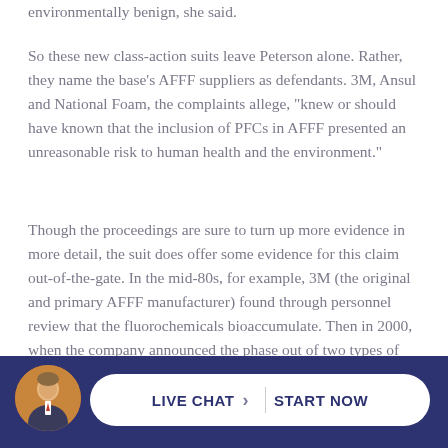environmentally benign, she said.
So these new class-action suits leave Peterson alone. Rather, they name the base's AFFF suppliers as defendants. 3M, Ansul and National Foam, the complaints allege, "knew or should have known that the inclusion of PFCs in AFFF presented an unreasonable risk to human health and the environment."
Though the proceedings are sure to turn up more evidence in more detail, the suit does offer some evidence for this claim out-of-the-gate. In the mid-80s, for example, 3M (the original and primary AFFF manufacturer) found through personnel review that the fluorochemicals bioaccumulate. Then in 2000, when the company announced the phase out of two types of PFCs — PFOS and PFOA — private and public information contend that...
[Figure (other): Live chat widget at bottom of page with a photo of a man in a suit and a button reading 'LIVE CHAT | START NOW' on a dark navy background]